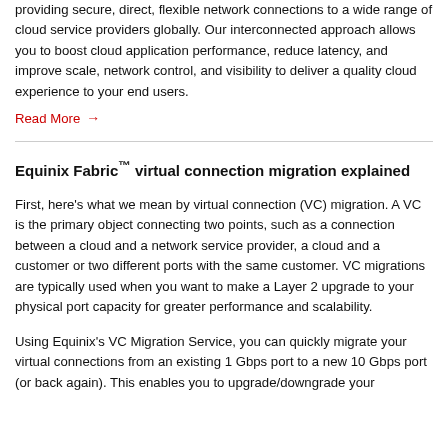providing secure, direct, flexible network connections to a wide range of cloud service providers globally. Our interconnected approach allows you to boost cloud application performance, reduce latency, and improve scale, network control, and visibility to deliver a quality cloud experience to your end users.
Read More →
Equinix Fabric™ virtual connection migration explained
First, here's what we mean by virtual connection (VC) migration. A VC is the primary object connecting two points, such as a connection between a cloud and a network service provider, a cloud and a customer or two different ports with the same customer. VC migrations are typically used when you want to make a Layer 2 upgrade to your physical port capacity for greater performance and scalability.
Using Equinix's VC Migration Service, you can quickly migrate your virtual connections from an existing 1 Gbps port to a new 10 Gbps port (or back again). This enables you to upgrade/downgrade your